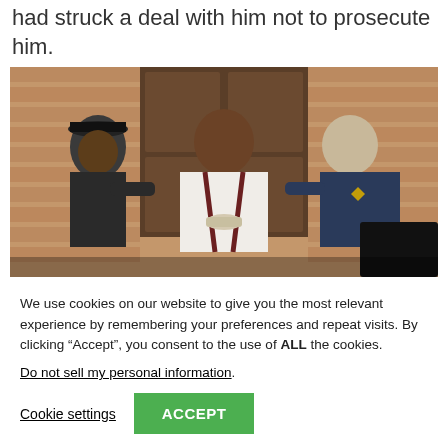had struck a deal with him not to prosecute him.
[Figure (photo): A man in a white t-shirt with suspenders being escorted by two law enforcement officers outside a brick building.]
We use cookies on our website to give you the most relevant experience by remembering your preferences and repeat visits. By clicking “Accept”, you consent to the use of ALL the cookies.
Do not sell my personal information.
Cookie settings
ACCEPT